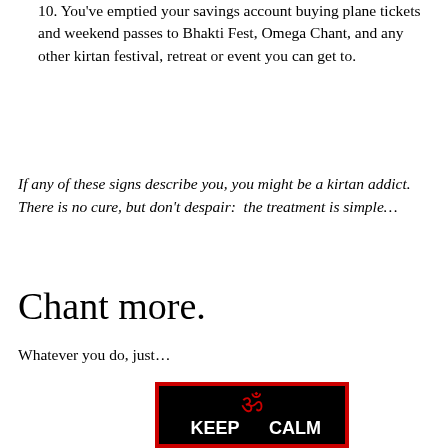10. You've emptied your savings account buying plane tickets and weekend passes to Bhakti Fest, Omega Chant, and any other kirtan festival, retreat or event you can get to.
If any of these signs describe you, you might be a kirtan addict. There is no cure, but don't despair:  the treatment is simple…
Chant more.
Whatever you do, just…
[Figure (illustration): Black poster with red Om symbol and white text reading KEEP CALM]